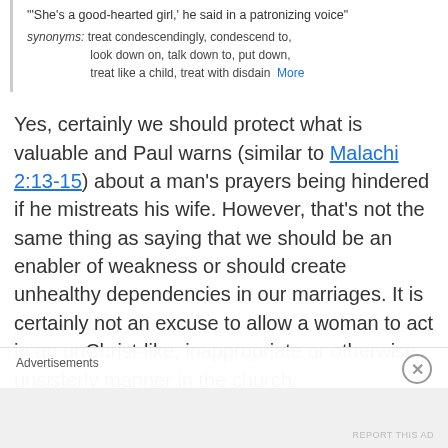"'She's a good-hearted girl,' he said in a patronizing voice"
synonyms: treat condescendingly, condescend to, look down on, talk down to, put down, treat like a child, treat with disdain  More
Yes, certainly we should protect what is valuable and Paul warns (similar to Malachi 2:13-15) about a man's prayers being hindered if he mistreats his wife. However, that's not the same thing as saying that we should be an enabler of weakness or should create unhealthy dependencies in our marriages. It is certainly not an excuse to allow a woman to act in an unChrist-like, inappropriate or otherwise unsisterly manner in the church.
Advertisements